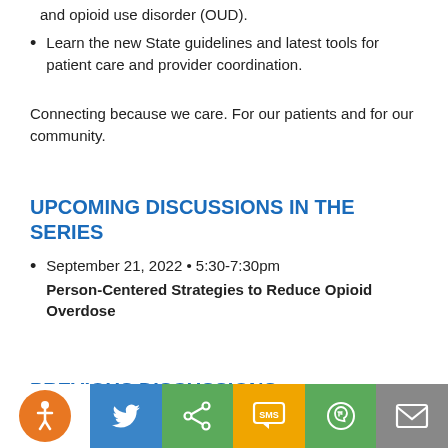and opioid use disorder (OUD).
Learn the new State guidelines and latest tools for patient care and provider coordination.
Connecting because we care. For our patients and for our community.
UPCOMING DISCUSSIONS IN THE SERIES
September 21, 2022 • 5:30-7:30pm Person-Centered Strategies to Reduce Opioid Overdose
PREVIOUS DISCUSSIONS